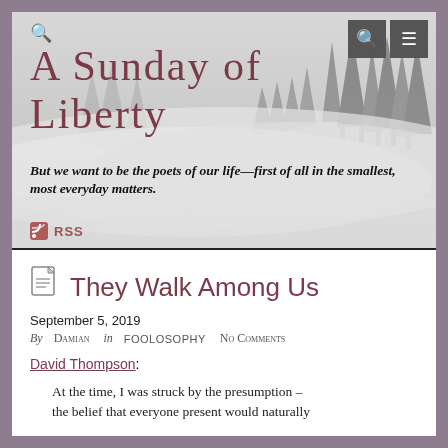[Figure (screenshot): Blog header banner with misty forest background, site title 'A Sunday of Liberty', italic tagline, and RSS link]
They Walk Among Us
September 5, 2019
By Damian in FOOLOSOPHY No Comments
David Thompson:
At the time, I was struck by the presumption – the belief that everyone present would naturally